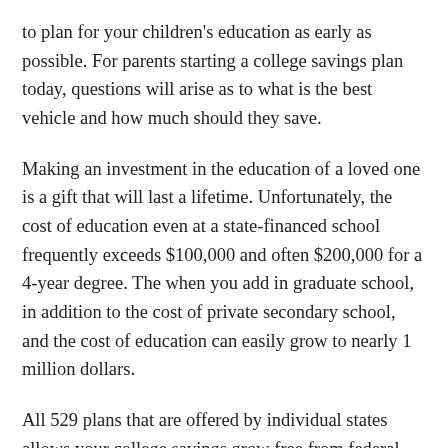to plan for your children's education as early as possible. For parents starting a college savings plan today, questions will arise as to what is the best vehicle and how much should they save.
Making an investment in the education of a loved one is a gift that will last a lifetime. Unfortunately, the cost of education even at a state-financed school frequently exceeds $100,000 and often $200,000 for a 4-year degree. The when you add in graduate school, in addition to the cost of private secondary school, and the cost of education can easily grow to nearly 1 million dollars.
All 529 plans that are offered by individual states allows your college savings grow free from federal and state tax. However, not all states give you the same tax advantages and a good financial advisor can help you determine which plan is best for your situation. Many families are also surprised to find that there are other tax-advantaged saving options for college beyond the 529